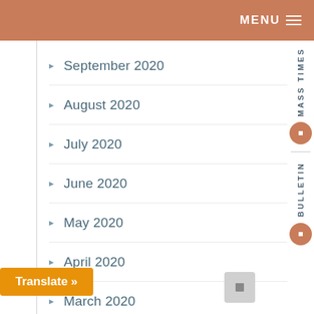MENU
September 2020
August 2020
July 2020
June 2020
May 2020
April 2020
March 2020
January 2020
December 2019
November 2019
October 2019
September 2019
July 2019